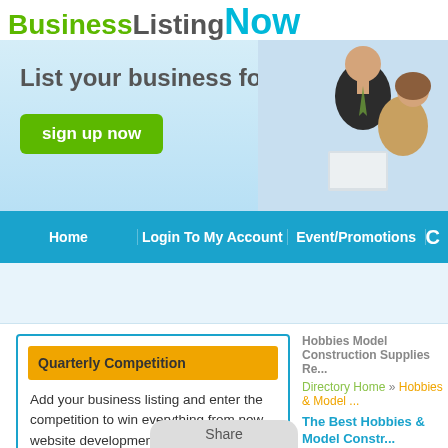[Figure (screenshot): BusinessListingNow website screenshot showing logo, banner with 'List your business for free!' tagline, sign up button, navigation bar, quarterly competition promo box, and hobbies directory content]
BusinessListingNow
List your business for free!
sign up now
Home    Login To My Account    Event/Promotions
Quarterly Competition
Add your business listing and enter the competition to win everything from new website development to website upgrades
Read More...    Hide this add
Hobbies Model Construction Supplies Re...
Directory Home » Hobbies & Model ...
The Best Hobbies & Model Constr...
The world of online commerce has m... business promotion faster, easier, an... the right sources and resources with... where to promote yourself are some...
Share